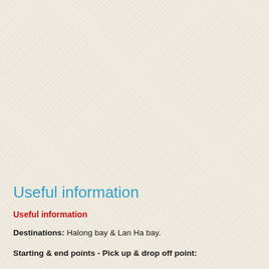Useful information
Useful information
Destinations: Halong bay & Lan Ha bay.
Starting & end points - Pick up & drop off point: